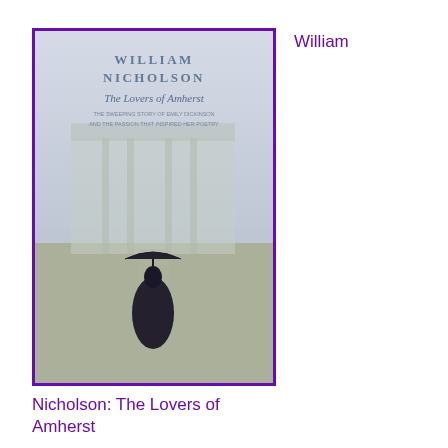[Figure (illustration): Book cover of 'The Lovers of Amherst' by William Nicholson, showing a woman in Victorian dress holding an umbrella, walking away from viewer toward a grand building in misty light. Purple border.]
William
Nicholson: The Lovers of Amherst
[Figure (illustration): Book cover of 'A Spool of Blue Thread' by Anne Tyler, with bold white text on dark green background showing a car scene. Purple border.]
Anne Tyler: A Spool of Blue Thread
[Figure (illustration): Book cover of a Mary Lawson book, beige/cream background with author name in dark brown serif letters. Purple border.]
Mary Lawson: